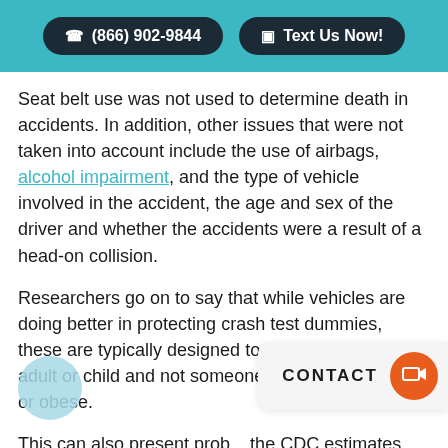(866) 902-9844 | Text Us Now!
Seat belt use was not used to determine death in accidents. In addition, other issues that were not taken into account include the use of airbags, alcohol impairment, and the type of vehicle involved in the accident, the age and sex of the driver and whether the accidents were a result of a head-on collision.
Researchers go on to say that while vehicles are doing better in protecting crash test dummies, these are typically designed to reflect a normal adult or child and not someone who is overweight or obese.
This can also present prob... the CDC estimates that over one third of all adults